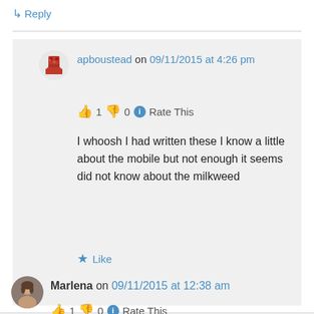↳ Reply
apboustead on 09/11/2015 at 4:26 pm
👍 1 👎 0 ℹ Rate This
I whoosh I had written these I know a little about the mobile but not enough it seems did not know about the milkweed
★ Like
Marlena on 09/11/2015 at 12:38 am
👍 1 👎 0 ℹ Rate This